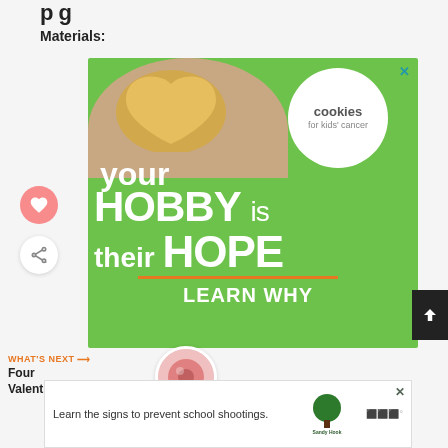Materials:
[Figure (illustration): Advertisement for cookies for kids' cancer — green background with hands holding a heart-shaped cookie, text reading 'your HOBBY is their HOPE LEARN WHY', cookies for kids' cancer logo in white circle]
[Figure (illustration): Heart icon like button (pink circle with heart)]
[Figure (illustration): Share button (white circle with share icon)]
WHAT'S NEXT → Four Valentine's...
[Figure (photo): Thumbnail of donut/Valentine's food item]
[Figure (illustration): Bottom advertisement: 'Learn the signs to prevent school shootings.' with Sandy Hook Promise logo]